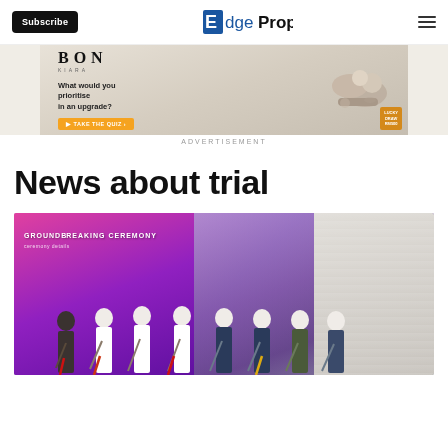Subscribe | EdgeProp
[Figure (photo): BON Kiara advertisement banner - What would you prioritise in an upgrade? Take the quiz. Lucky draw RM500.]
ADVERTISEMENT
News about trial
[Figure (photo): Groundbreaking ceremony photo showing a group of people holding shovels in front of a pink/purple banner]